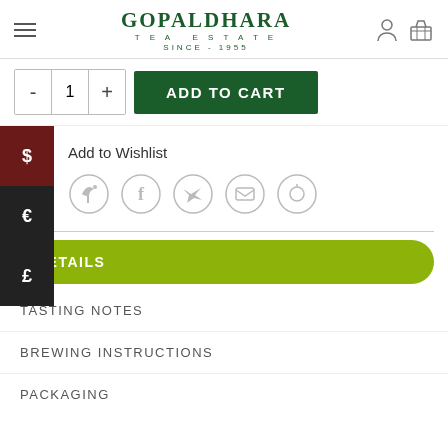GOPALDHARA TEA ESTATE SINCE - 1955
ADD TO CART
$ € £
Add to Wishlist
[Figure (other): Social share icons: share, facebook, twitter, email, pinterest]
DETAILS
TASTING NOTES
BREWING INSTRUCTIONS
PACKAGING